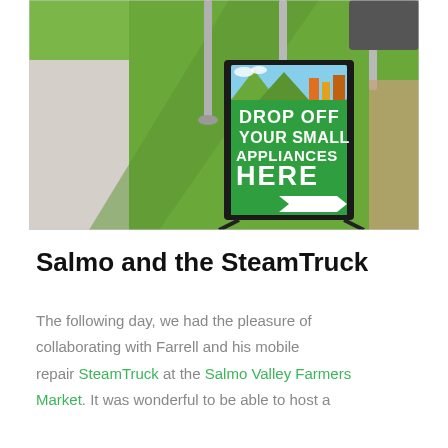[Figure (photo): Outdoor photo of a green A-frame sandwich board sign on grass that reads 'DROP OFF YOUR SMALL APPLIANCES HERE' with a white arrow pointing right, set up on a sunny day near a sidewalk and park poles.]
Salmo and the SteamTruck
The following day, we had the pleasure of collaborating with Farrell and his mobile repair SteamTruck at the Salmo Valley Farmers Market. It was wonderful to be able to host a